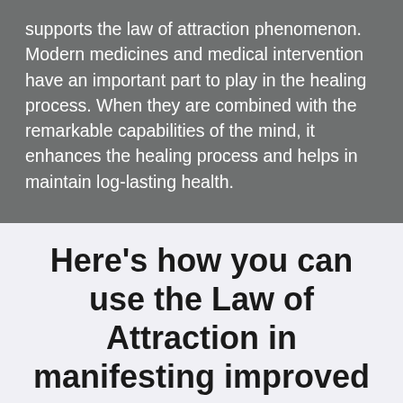supports the law of attraction phenomenon. Modern medicines and medical intervention have an important part to play in the healing process. When they are combined with the remarkable capabilities of the mind, it enhances the healing process and helps in maintain log-lasting health.
Here's how you can use the Law of Attraction in manifesting improved health
1. Go Stress-Free
Stress is #1 illness-causing phenomenon which our mind experiences now and then. Invest in good